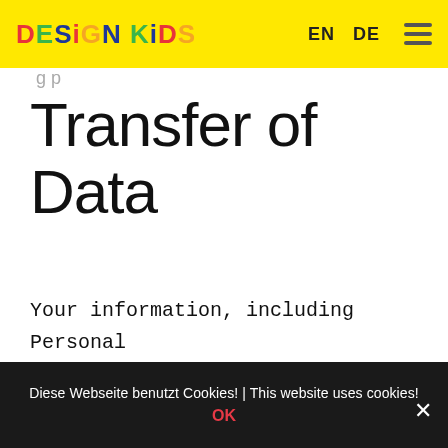DESIGN KiDS | EN DE
Transfer of Data
Your information, including Personal Data, may be transferred to — and maintained on — computers located outside of your state, province, country or other governmental jurisdiction where the data protection laws may differ from
Diese Webseite benutzt Cookies! | This website uses cookies! OK ×